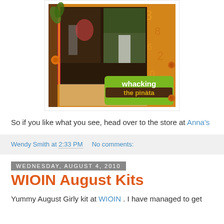[Figure (photo): Scrapbook page showing children whacking a piñata, with decorative orange patterned paper, photos collaged together, and a label reading 'whacking the piñata']
So if you like what you see, head over to the store at Anna's
Wendy Smith at 2:33 PM    No comments:
Wednesday, August 4, 2010
WIOIN August Kits
Yummy August Girly kit at WIOIN . I have managed to get